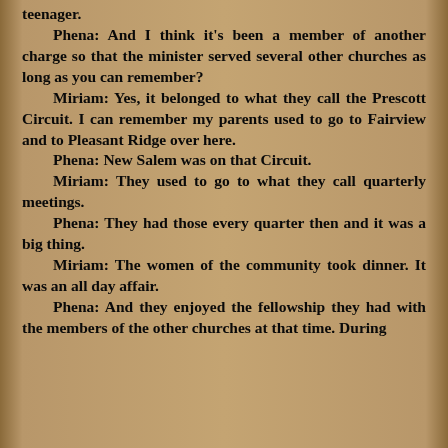teenager.
    Phena: And I think it's been a member of another charge so that the minister served several other churches as long as you can remember?
    Miriam: Yes, it belonged to what they call the Prescott Circuit. I can remember my parents used to go to Fairview and to Pleasant Ridge over here.
    Phena: New Salem was on that Circuit.
    Miriam: They used to go to what they call quarterly meetings.
    Phena: They had those every quarter then and it was a big thing.
    Miriam: The women of the community took dinner. It was an all day affair.
    Phena: And they enjoyed the fellowship they had with the members of the other churches at that time. During